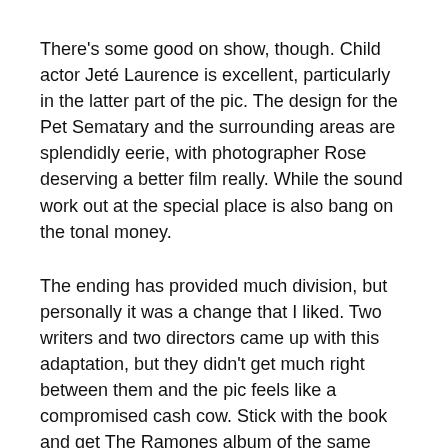There's some good on show, though. Child actor Jeté Laurence is excellent, particularly in the latter part of the pic. The design for the Pet Sematary and the surrounding areas are splendidly eerie, with photographer Rose deserving a better film really. While the sound work out at the special place is also bang on the tonal money.
The ending has provided much division, but personally it was a change that I liked. Two writers and two directors came up with this adaptation, but they didn't get much right between them and the pic feels like a compromised cash cow. Stick with the book and get The Ramones album of the same name instead. 6/10